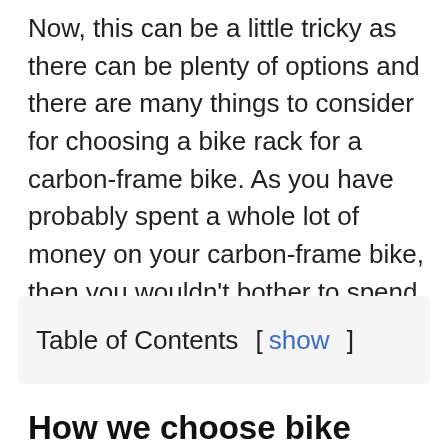Now, this can be a little tricky as there can be plenty of options and there are many things to consider for choosing a bike rack for a carbon-frame bike. As you have probably spent a whole lot of money on your carbon-frame bike, then you wouldn't bother to spend a little more to buy a premium bike rack for your carbon-frame bike.
Table of Contents [ show ]
How we choose bike racks